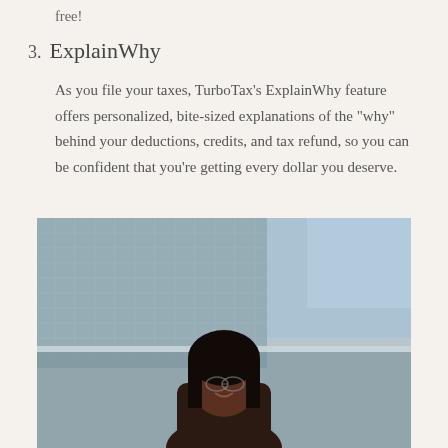free!
3. ExplainWhy
As you file your taxes, TurboTax's ExplainWhy feature offers personalized, bite-sized explanations of the "why" behind your deductions, credits, and tax refund, so you can be confident that you're getting every dollar you deserve.
[Figure (photo): A smiling woman with long dark hair standing outdoors in front of a glass-facade building with blurred background.]